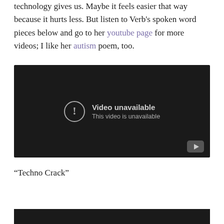technology gives us. Maybe it feels easier that way because it hurts less. But listen to Verb's spoken word pieces below and go to her youtube page for more videos; I like her autism poem, too.
[Figure (screenshot): Embedded YouTube video player showing 'Video unavailable — This video is unavailable' error message on a dark background with YouTube icon in lower right corner.]
“Techno Crack”
[Figure (screenshot): Partial view of another embedded video thumbnail showing a person's face, dark background.]